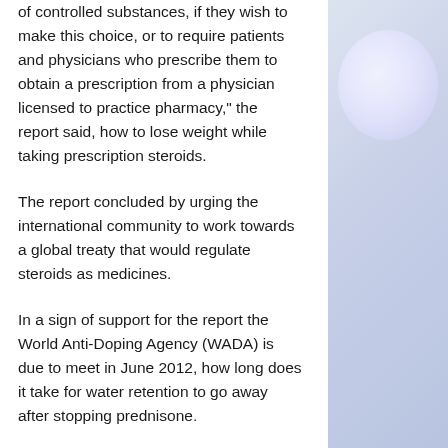of controlled substances, if they wish to make this choice, or to require patients and physicians who prescribe them to obtain a prescription from a physician licensed to practice pharmacy," the report said, how to lose weight while taking prescription steroids.
The report concluded by urging the international community to work towards a global treaty that would regulate steroids as medicines.
In a sign of support for the report the World Anti-Doping Agency (WADA) is due to meet in June 2012, how long does it take for water retention to go away after stopping prednisone.
In the meantime, doctors are urged to check with their state and local health authorities before prescribing a drug, how to lose weight